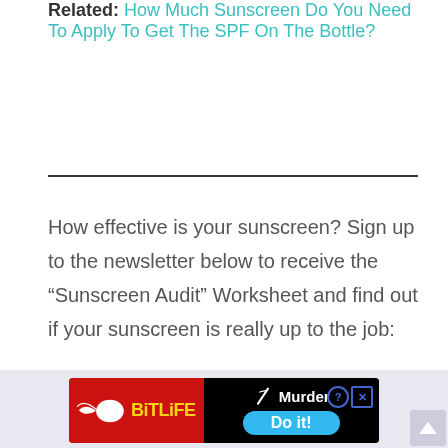Related: How Much Sunscreen Do You Need To Apply To Get The SPF On The Bottle?
How effective is your sunscreen? Sign up to the newsletter below to receive the “Sunscreen Audit” Worksheet and find out if your sunscreen is really up to the job:
[Figure (other): Advertisement banner for BitLife game featuring a red background with sperm logo, yellow BitLife text, and a black section with 'Murder Do it!' text and a blue button]